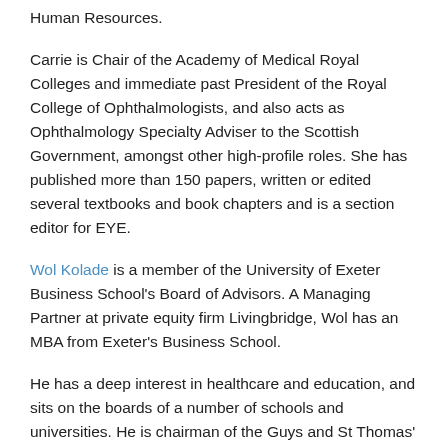Human Resources.
Carrie is Chair of the Academy of Medical Royal Colleges and immediate past President of the Royal College of Ophthalmologists, and also acts as Ophthalmology Specialty Adviser to the Scottish Government, amongst other high-profile roles. She has published more than 150 papers, written or edited several textbooks and book chapters and is a section editor for EYE.
Wol Kolade is a member of the University of Exeter Business School's Board of Advisors. A Managing Partner at private equity firm Livingbridge, Wol has an MBA from Exeter's Business School.
He has a deep interest in healthcare and education, and sits on the boards of a number of schools and universities. He is chairman of the Guys and St Thomas' Charity and also sits on the boards of NHS Improvement as a non-executive director, working to help the NHS to meet its short-term challenges and secure its future.
He sits on the advisory council of Level20, a not for profit